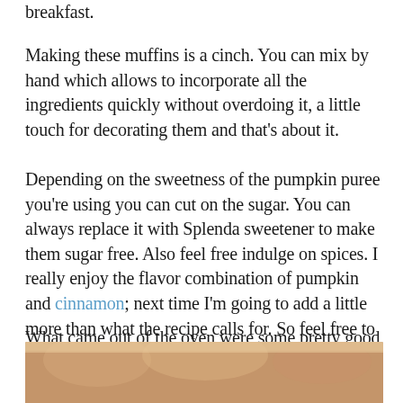breakfast.
Making these muffins is a cinch. You can mix by hand which allows to incorporate all the ingredients quickly without overdoing it, a little touch for decorating them and that’s about it.
Depending on the sweetness of the pumpkin puree you’re using you can cut on the sugar. You can always replace it with Splenda sweetener to make them sugar free. Also feel free indulge on spices. I really enjoy the flavor combination of pumpkin and cinnamon; next time I’m going to add a little more than what the recipe calls for. So feel free to adjust those things to taste.
What came out of the oven were some pretty good muffins, worthy of your palate. Packed with protein, fibers and all the nutrients pumpkin brings along!
[Figure (photo): Bottom strip of a photo showing muffins, warm brown tones]